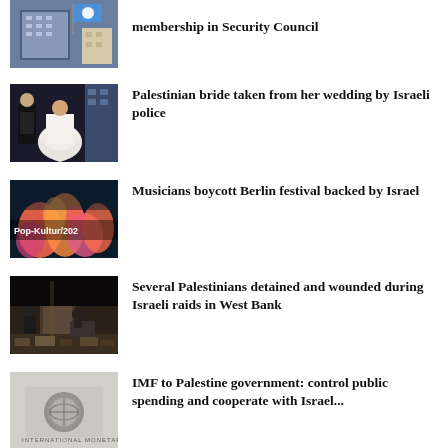[Figure (photo): Partial image of UN building with flag]
membership in Security Council
[Figure (photo): Palestinian bride and groom at wedding]
Palestinian bride taken from her wedding by Israeli police
[Figure (photo): Colorful coral reef with Pop-Kultur/202 overlay text]
Musicians boycott Berlin festival backed by Israel
[Figure (photo): Scene of raid damage in a room]
Several Palestinians detained and wounded during Israeli raids in West Bank
[Figure (photo): IMF logo on wall]
IMF to Palestine government: control public spending and cooperate with Israel...